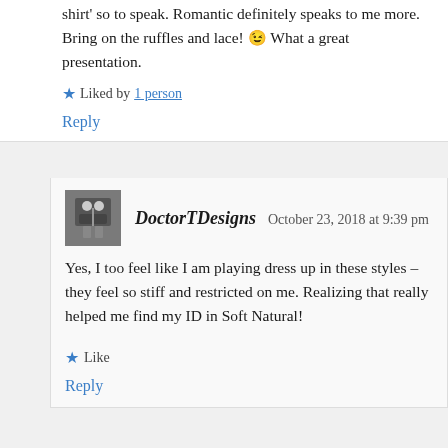shirt' so to speak. Romantic definitely speaks to me more. Bring on the ruffles and lace! 😉 What a great presentation.
Liked by 1 person
Reply
DoctorTDesigns  October 23, 2018 at 9:39 pm
Yes, I too feel like I am playing dress up in these styles – they feel so stiff and restricted on me. Realizing that really helped me find my ID in Soft Natural!
Like
Reply